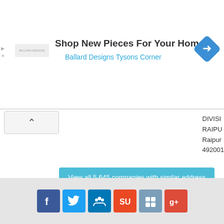[Figure (screenshot): Advertisement banner: logo for Ballard Designs, text 'Shop New Pieces For Your Home' with subtitle 'Ballard Designs Tysons Corner', and a blue diamond navigation icon on the right]
DIVISI...
RAIPU...
Raipur
492001
U74999CT2017PTC007953
NATURALMS INNOVATIONS PRIVATE LIMITED
MIG-16
Kusha
Thakre
Kabir N
Raipur
CT 492
View all 5,645 companies with similar address
[Figure (infographic): Social media share buttons: Facebook (blue), Twitter (light blue), LinkedIn (dark blue), StumbleUpon (orange-red), Delicious (blue-grey), Google+ (red)]